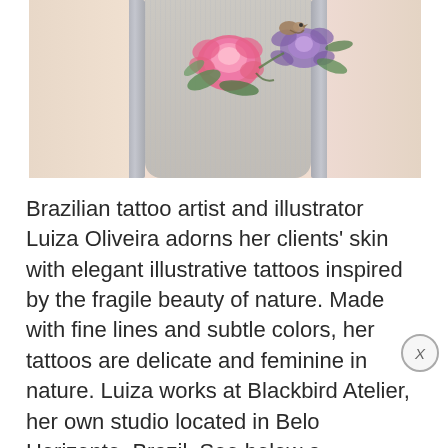[Figure (photo): A person's back with a floral tattoo featuring pink peonies and purple flowers with a small bird, wearing a grey striped sleeveless top with visible straps.]
Brazilian tattoo artist and illustrator Luiza Oliveira adorns her clients' skin with elegant illustrative tattoos inspired by the fragile beauty of nature. Made with fine lines and subtle colors, her tattoos are delicate and feminine in nature. Luiza works at Blackbird Atelier, her own studio located in Belo Horizonte, Brazil. See below a selection of … Read